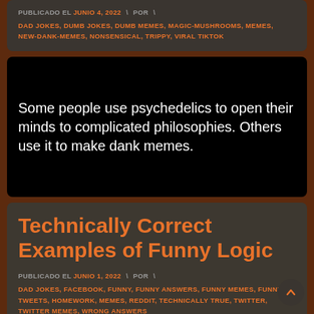PUBLICADO EL JUNIO 4, 2022  \  POR  \
DAD JOKES, DUMB JOKES, DUMB MEMES, MAGIC-MUSHROOMS, MEMES, NEW-DANK-MEMES, NONSENSICAL, TRIPPY, VIRAL TIKTOK
Some people use psychedelics to open their minds to complicated philosophies. Others use it to make dank memes.
Technically Correct Examples of Funny Logic
PUBLICADO EL JUNIO 1, 2022  \  POR  \
DAD JOKES, FACEBOOK, FUNNY, FUNNY ANSWERS, FUNNY MEMES, FUNNY TWEETS, HOMEWORK, MEMES, REDDIT, TECHNICALLY TRUE, TWITTER, TWITTER MEMES, WRONG ANSWERS